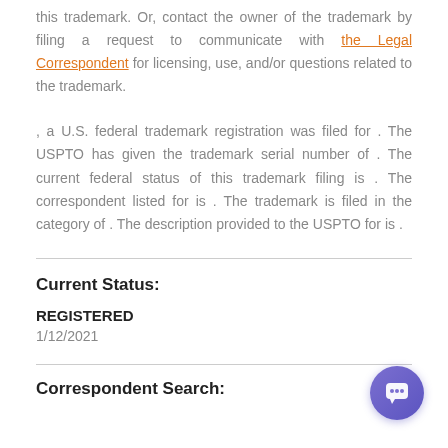this trademark. Or, contact the owner of the trademark by filing a request to communicate with the Legal Correspondent for licensing, use, and/or questions related to the trademark.
, a U.S. federal trademark registration was filed for . The USPTO has given the trademark serial number of . The current federal status of this trademark filing is . The correspondent listed for is . The trademark is filed in the category of . The description provided to the USPTO for is .
Current Status:
REGISTERED
1/12/2021
Correspondent Search: